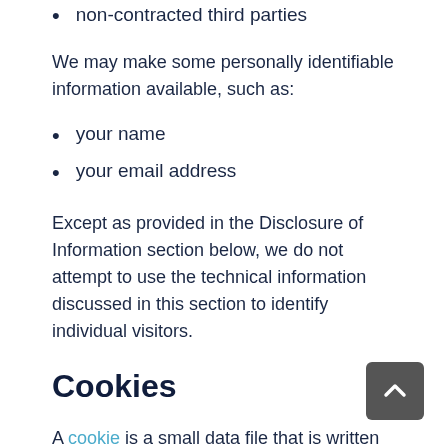non-contracted third parties
We may make some personally identifiable information available, such as:
your name
your email address
Except as provided in the Disclosure of Information section below, we do not attempt to use the technical information discussed in this section to identify individual visitors.
Cookies
A cookie is a small data file that is written to your hard drive that contains information about your computer.